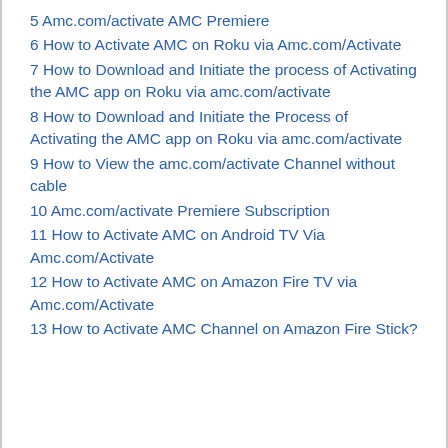5 Amc.com/activate AMC Premiere
6 How to Activate AMC on Roku via Amc.com/Activate
7 How to Download and Initiate the process of Activating the AMC app on Roku via amc.com/activate
8 How to Download and Initiate the Process of Activating the AMC app on Roku via amc.com/activate
9 How to View the amc.com/activate Channel without cable
10 Amc.com/activate Premiere Subscription
11 How to Activate AMC on Android TV Via Amc.com/Activate
12 How to Activate AMC on Amazon Fire TV via Amc.com/Activate
13 How to Activate AMC Channel on Amazon Fire Stick?